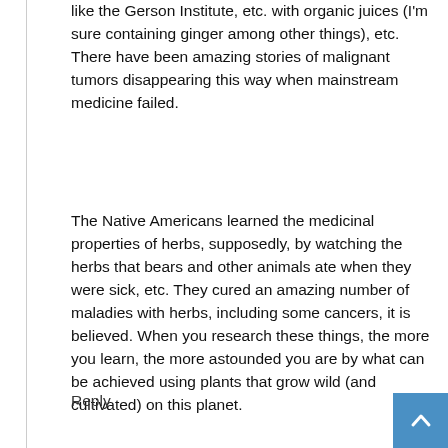like the Gerson Institute, etc. with organic juices (I'm sure containing ginger among other things), etc. There have been amazing stories of malignant tumors disappearing this way when mainstream medicine failed.
The Native Americans learned the medicinal properties of herbs, supposedly, by watching the herbs that bears and other animals ate when they were sick, etc. They cured an amazing number of maladies with herbs, including some cancers, it is believed. When you research these things, the more you learn, the more astounded you are by what can be achieved using plants that grow wild (and cultivated) on this planet.
Reply